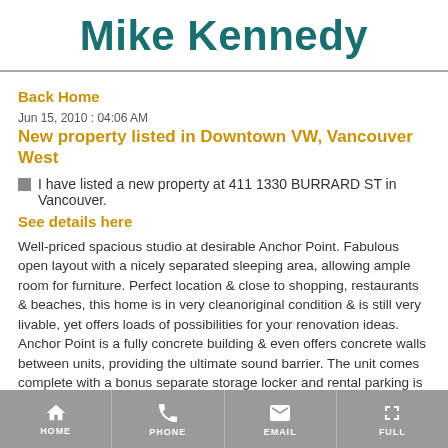Mike Kennedy
Back Home
Jun 15, 2010 : 04:06 AM
New property listed in Downtown VW, Vancouver West
I have listed a new property at 411 1330 BURRARD ST in Vancouver.
See details here
Well-priced spacious studio at desirable Anchor Point. Fabulous open layout with a nicely separated sleeping area, allowing ample room for furniture. Perfect location & close to shopping, restaurants & beaches, this home is in very cleanoriginal condition & is still very livable, yet offers loads of possibilities for your renovation ideas. Anchor Point is a fully concrete building & even offers concrete walls between units, providing the ultimate sound barrier. The unit comes complete with a bonus separate storage locker and rental parking is available within the building. Rentals are welcome. Whether for investment or personal use, this home offers one of the best values in downtown Vancouver. OPEN SAT&SUN, 2-4pm.
HOME   PHONE   EMAIL   FULL